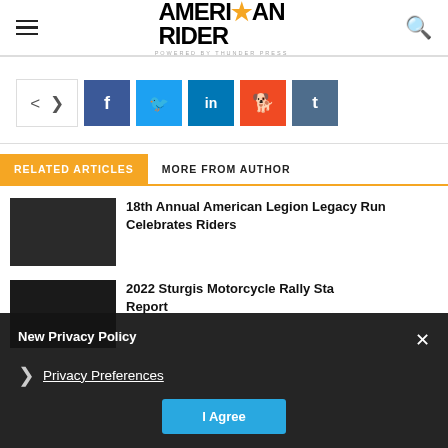AMERICAN RIDER powered by THUNDER PRESS
[Figure (other): Social share bar with share icon, Facebook, Twitter, LinkedIn, Reddit, and Tumblr buttons]
RELATED ARTICLES | MORE FROM AUTHOR
18th Annual American Legion Legacy Run Celebrates Riders
2022 Sturgis Motorcycle Rally State Report
New Privacy Policy — Privacy Preferences — I Agree